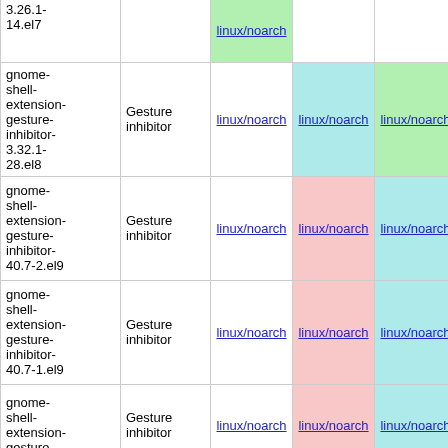| Package | Name | Col1 | Col2 | Col3 | Col4 |
| --- | --- | --- | --- | --- | --- |
| 3.26.1-14.el7 |  | linux/noarch |  |  |  |
| gnome-shell-extension-gesture-inhibitor-3.32.1-28.el8 | Gesture inhibitor | linux/noarch | linux/noarch | linux/noarch |  |
| gnome-shell-extension-gesture-inhibitor-40.7-2.el9 | Gesture inhibitor | linux/noarch | linux/noarch | linux/noarch | linux/n |
| gnome-shell-extension-gesture-inhibitor-40.7-1.el9 | Gesture inhibitor | linux/noarch | linux/noarch | linux/noarch | linux/n |
| gnome-shell-extension-gesture-inhibitor (partial) | Gesture inhibitor | linux/noarch | linux/noarch | linux/noarch | linux/n |